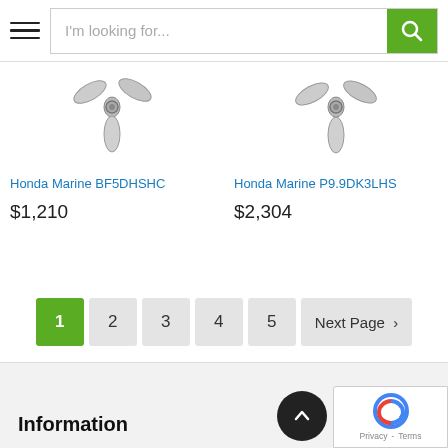I'm looking for...
[Figure (photo): Honda Marine BF5DHSHC outboard motor propeller image]
Honda Marine BF5DHSHC
$1,210
[Figure (photo): Honda Marine P9.9DK3LHS outboard motor propeller image]
Honda Marine P9.9DK3LHS
$2,304
1  2  3  4  5  Next Page >
Information